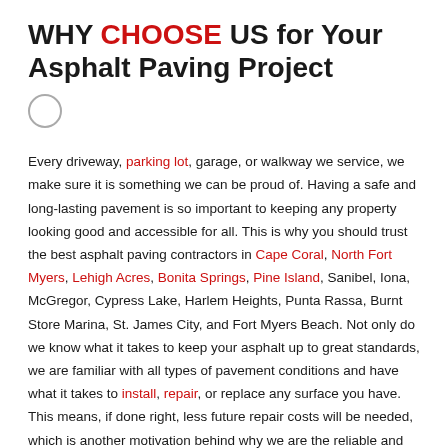WHY CHOOSE US for Your Asphalt Paving Project
[Figure (other): Circle/radio button icon]
Every driveway, parking lot, garage, or walkway we service, we make sure it is something we can be proud of. Having a safe and long-lasting pavement is so important to keeping any property looking good and accessible for all. This is why you should trust the best asphalt paving contractors in Cape Coral, North Fort Myers, Lehigh Acres, Bonita Springs, Pine Island, Sanibel, Iona, McGregor, Cypress Lake, Harlem Heights, Punta Rassa, Burnt Store Marina, St. James City, and Fort Myers Beach. Not only do we know what it takes to keep your asphalt up to great standards, we are familiar with all types of pavement conditions and have what it takes to install, repair, or replace any surface you have. This means, if done right, less future repair costs will be needed, which is another motivation behind why we are the reliable and dependable decision to pave your property.